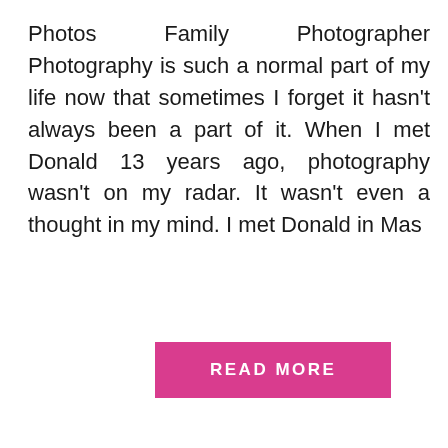Photos   Family   Photographer
Photography is such a normal part of my life now that sometimes I forget it hasn't always been a part of it. When I met Donald 13 years ago, photography wasn't on my radar. It wasn't even a thought in my mind. I met Donald in Mas
READ MORE